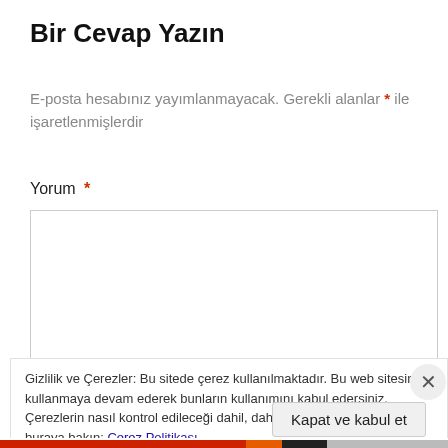Bir Cevap Yazın
E-posta hesabınız yayımlanmayacak. Gerekli alanlar * ile işaretlenmişlerdir
Yorum *
[Figure (other): Empty text area input box for comment]
Gizlilik ve Çerezler: Bu sitede çerez kullanılmaktadır. Bu web sitesini kullanmaya devam ederek bunların kullanımını kabul edersiniz. Çerezlerin nasıl kontrol edileceği dahil, daha fazla bilgi edinmek için buraya bakın: Çerez Politikası
Kapat ve kabul et